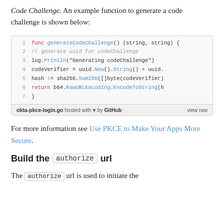Code Challenge. An example function to generate a code challenge is shown below:
[Figure (screenshot): Code block showing Go function generateCodeChallenge with 7 lines of code, hosted on GitHub. Lines include: func generateCodeChallenge() (string, string) {, // generate uuid for codeChallenge, log.Println("Generating codeChallenge"), codeVerifier = uuid.New().String() + uuid., hash := sha256.Sum256([]byte(codeVerifier), return b64.RawURLEncoding.EncodeToString(h, }. Footer: okta-pkce-login.go hosted with heart by GitHub, view raw.]
For more information see Use PKCE to Make Your Apps More Secure.
Build the authorize url
The authorize url is used to initiate the